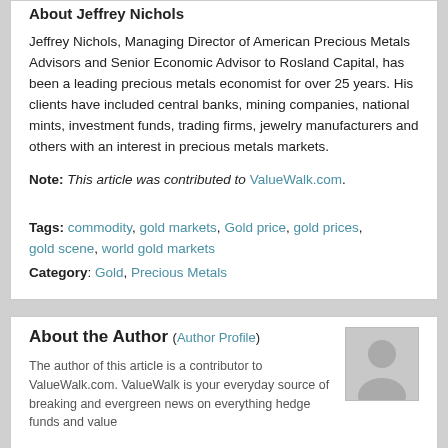About Jeffrey Nichols
Jeffrey Nichols, Managing Director of American Precious Metals Advisors and Senior Economic Advisor to Rosland Capital, has been a leading precious metals economist for over 25 years. His clients have included central banks, mining companies, national mints, investment funds, trading firms, jewelry manufacturers and others with an interest in precious metals markets.
Note: This article was contributed to ValueWalk.com.
Tags: commodity, gold markets, Gold price, gold prices, gold scene, world gold markets
Category: Gold, Precious Metals
About the Author (Author Profile)
[Figure (illustration): Generic author avatar/silhouette placeholder image]
The author of this article is a contributor to ValueWalk.com. ValueWalk is your everyday source of breaking and evergreen news on everything hedge funds and value